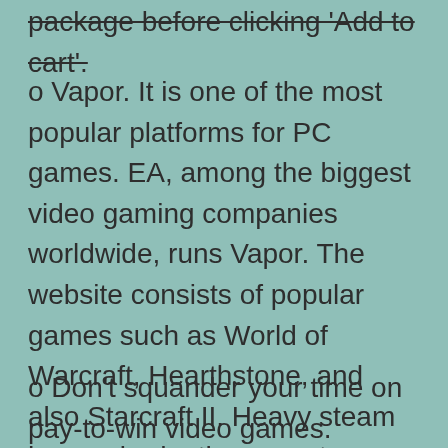package before clicking 'Add to cart'.
o Vapor. It is one of the most popular platforms for PC games. EA, among the biggest video gaming companies worldwide, runs Vapor. The website consists of popular games such as World of Warcraft, Hearthstone, and also Starcraft II. Heavy steam has an in-depth account management function as well as Shiver streaming. The site is not a PC video game download web site, but it is a great location to play complimentary online games.
o Don't squander your time on pay-to-win video games. Frequently, these video games